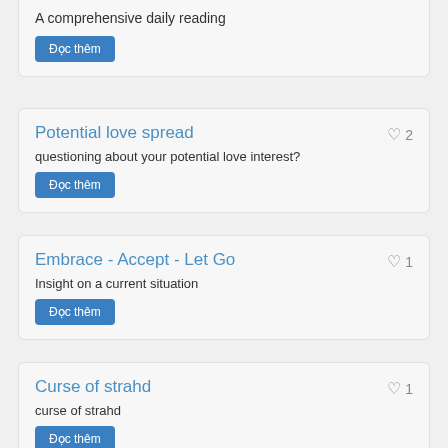A comprehensive daily reading
Đọc thêm
Potential love spread
questioning about your potential love interest?
Đọc thêm
Embrace - Accept - Let Go
Insight on a current situation
Đọc thêm
Curse of strahd
curse of strahd
Đọc thêm